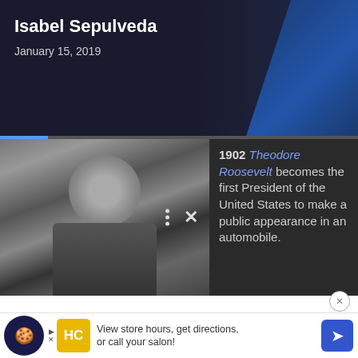Isabel Sepulveda
January 15, 2019
[Figure (photo): Black and white historical photo of Theodore Roosevelt with overlay icons (three dots and X), alongside a dark sidebar with text: 1902 Theodore Roosevelt becomes the first President of the United States to make a public appearance in an automobile.]
President Trump's popularity with everyday Americans has been newsworthy since he was sworn into office. He started his presidency with the lowest approval rating of an incoming president since those numbers were first gathered; and, in comparison to where previous presidents stood two years into their first term, Trump's popularity is still below average.
[Figure (infographic): Advertisement banner: cookie consent icon on left, HC salon ad with text 'View store hours, get directions, or call your salon!' and blue navigation arrow icon.]